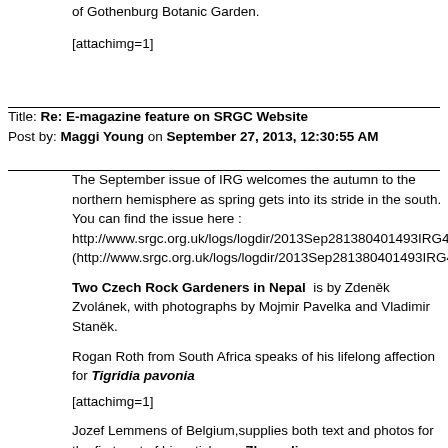of Gothenburg Botanic Garden.
[attachimg=1]
Title: Re: E-magazine feature on SRGC Website
Post by: Maggi Young on September 27, 2013, 12:30:55 AM
The September issue of IRG welcomes the autumn to the northern hemisphere as spring gets into its stride in the south. You can find the issue here : http://www.srgc.org.uk/logs/logdir/2013Sep281380401493IRG45Septem (http://www.srgc.org.uk/logs/logdir/2013Sep281380401493IRG45Septer
Two Czech Rock Gardeners in Nepal  is by Zdeněk Zvolánek, with photographs by Mojmir Pavelka and Vladimir Staněk.
Rogan Roth from South Africa speaks of his lifelong affection for Tigridia pavonia
[attachimg=1]
Jozef Lemmens of Belgium,supplies both text and photos for the first part of his article on  Zhongdian
 and
 ZZ introduces the recently described  Campanula hacerae